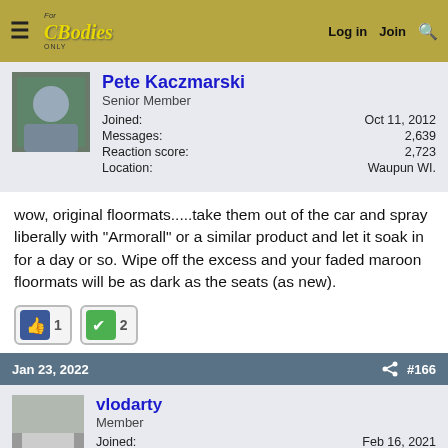For C Bodies Only - Log in | Join
[Figure (screenshot): Forum user profile card for Pete Kaczmarski showing avatar, Senior Member role, joined Oct 11, 2012, Messages: 2,639, Reaction score: 2,723, Location: Waupun WI.]
wow, original floormats.....take them out of the car and spray liberally with "Armorall" or a similar product and let it soak in for a day or so. Wipe off the excess and your faded maroon floormats will be as dark as the seats (as new).
[Figure (infographic): Reaction buttons: thumbs up (1) and checkmark (2)]
Jan 23, 2022  #166
[Figure (screenshot): Forum user profile card for vlodarty showing avatar, Member role, joined Feb 16, 2021, Messages: 78]